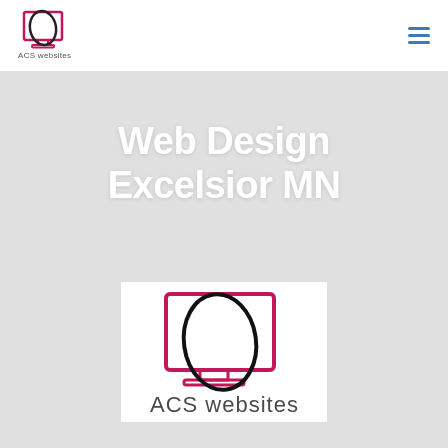[Figure (logo): ACS websites logo: monitor with curved arc and company name below]
[Figure (logo): Hamburger menu icon (three horizontal blue lines)]
Web Design Excelsior MN
[Figure (logo): Large ACS websites logo on white background: pink/red monitor outline with black oval arc and 'ACS websites' text below in gray]